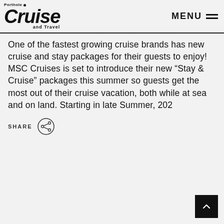Porthole Cruise and Travel — MENU
One of the fastest growing cruise brands has new cruise and stay packages for their guests to enjoy! MSC Cruises is set to introduce their new “Stay & Cruise” packages this summer so guests get the most out of their cruise vacation, both while at sea and on land. Starting in late Summer, 202
[Figure (other): Share button icon — a circle with a share/network symbol inside, with SHARE label to its left]